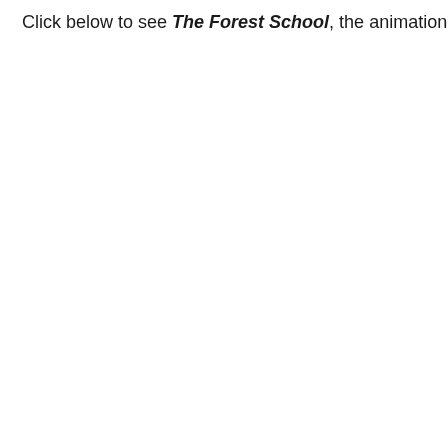Click below to see The Forest School, the animation made